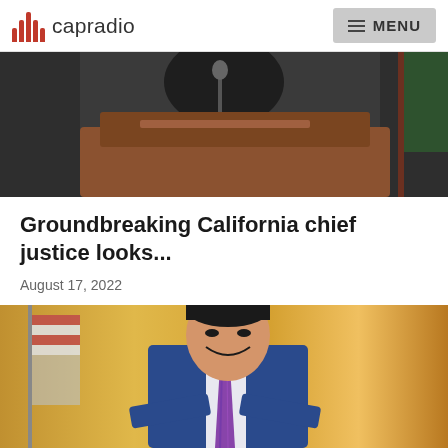capradio  MENU
[Figure (photo): Cropped photo showing a person in dark clothing at what appears to be a podium or lectern, with a California flag visible in the background]
Groundbreaking California chief justice looks...
August 17, 2022
[Figure (photo): Portrait of an Asian man in a blue suit with a striped purple tie, smiling with arms crossed, with an American flag in the background]